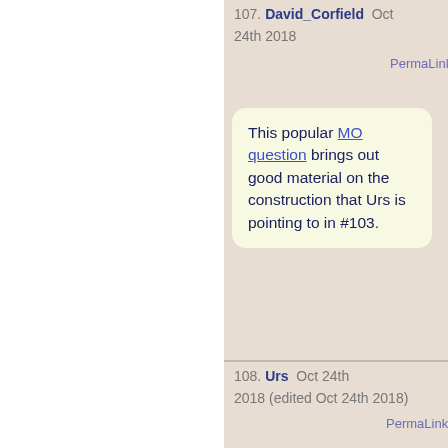107. David_Corfield  Oct 24th 2018   PermaLink
This popular MO question brings out good material on the construction that Urs is pointing to in #103.
108. Urs  Oct 24th 2018 (edited Oct 24th 2018)  PermaLink
I realize that the comparison morphism at the end in “Part B” of “Part II” is to be improved:

The comparison